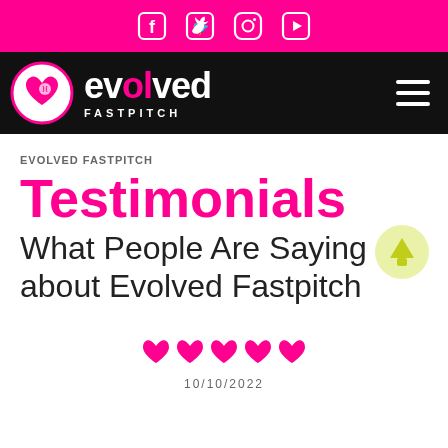Social media icons: Facebook, Twitter, Instagram, YouTube
[Figure (logo): Evolved Fastpitch logo with circular emblem containing heart and softball, pink text 'evolved' and white 'FASTPITCH' on black navigation bar with hamburger menu]
EVOLVED FASTPITCH
Testimonials
What People Are Saying about Evolved Fastpitch
[Figure (illustration): Light yellow circular scroll-to-top button with upward arrow]
[Figure (illustration): Five pink heart icons in a row]
10/10/2022